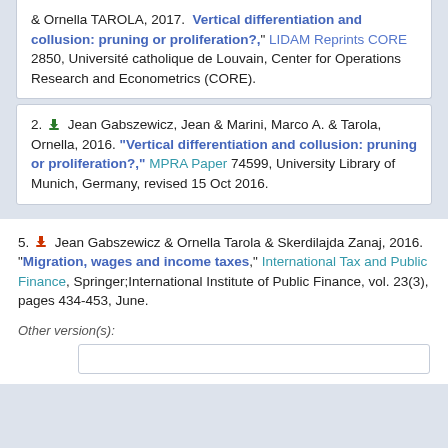& Ornella TAROLA, 2017. "Vertical differentiation and collusion: pruning or proliferation?," LIDAM Reprints CORE 2850, Université catholique de Louvain, Center for Operations Research and Econometrics (CORE).
2. Jean Gabszewicz, Jean & Marini, Marco A. & Tarola, Ornella, 2016. "Vertical differentiation and collusion: pruning or proliferation?," MPRA Paper 74599, University Library of Munich, Germany, revised 15 Oct 2016.
5. Jean Gabszewicz & Ornella Tarola & Skerdilajda Zanaj, 2016. "Migration, wages and income taxes," International Tax and Public Finance, Springer;International Institute of Public Finance, vol. 23(3), pages 434-453, June.
Other version(s):